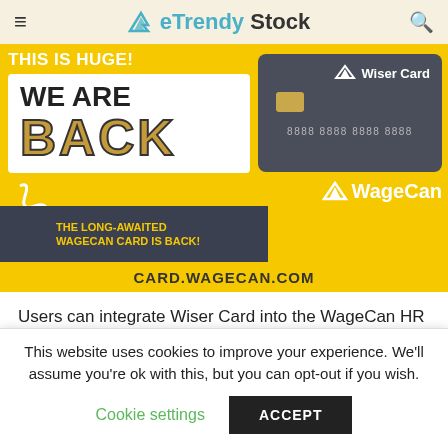eTrendy Stock
[Figure (infographic): WageCan promotional banner with yellow background showing 'THIS IS HUGE! WE ARE BACK' text, a Wiser Card image (dark card with chip and number 8888 8888 8888 8888), text 'THE LONG-AWAITED WAGECAN CARD IS BACK!', WageCan logo, and URL CARD.WAGECAN.COM]
Users can integrate Wiser Card into the WageCan HR & Payroll system to access a complete solution to asset payroll, trade, and payment issues. There are no
This website uses cookies to improve your experience. We'll assume you're ok with this, but you can opt-out if you wish.
Cookie settings   ACCEPT